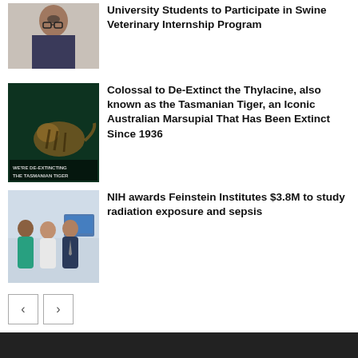[Figure (photo): Portrait photo of a man with glasses]
University Students to Participate in Swine Veterinary Internship Program
[Figure (photo): Dark green background image with a thylacine/tiger and text 'WE'RE DE-EXTINCTING THE TASMANIAN TIGER']
Colossal to De-Extinct the Thylacine, also known as the Tasmanian Tiger, an Iconic Australian Marsupial That Has Been Extinct Since 1936
[Figure (photo): Three men standing in a medical/lab office setting]
NIH awards Feinstein Institutes $3.8M to study radiation exposure and sepsis